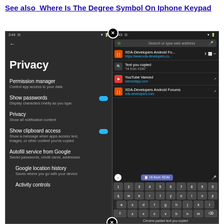See also  Where Is The Degree Symbol On Iphone Keypad
[Figure (screenshot): Two Android screenshots side by side. Left shows Android Privacy settings screen with dark theme, listing Permission manager, Show passwords (toggle on), Privacy, Show clipboard access (toggle on), Autofill service from Google, Google location history, Activity controls. Right shows Chrome browser address bar with search suggestions including XDA-Developers Android Forums, Text you copied 'Hi from XDA!', YouTube Vanced, XDA-Developers Android Forums, and a keyboard visible with clipboard paste suggestion 'Hi from XDA!' and bottom text 'Chrome pasted text you copied'.]